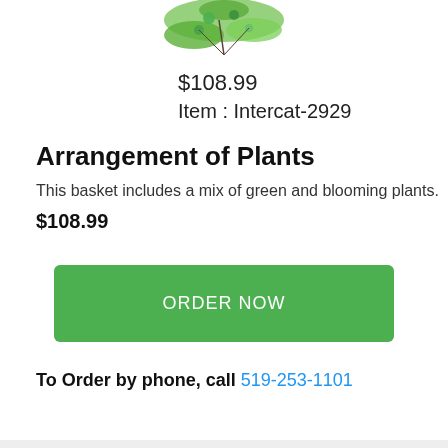[Figure (photo): Top portion of a plant arrangement photo, showing green leaves/vines against white background]
$108.99
Item : Intercat-2929
Arrangement of Plants
This basket includes a mix of green and blooming plants.
$108.99
ORDER NOW
To Order by phone, call 519-253-1101